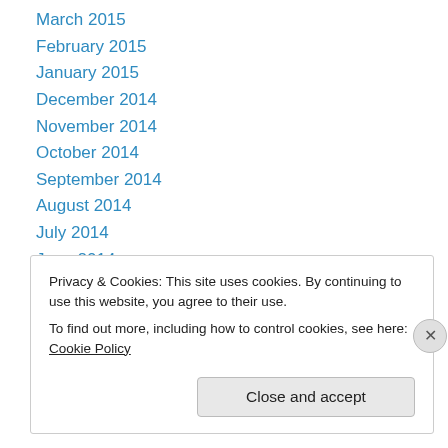March 2015
February 2015
January 2015
December 2014
November 2014
October 2014
September 2014
August 2014
July 2014
June 2014
May 2014
April 2014
September 2013
Privacy & Cookies: This site uses cookies. By continuing to use this website, you agree to their use.
To find out more, including how to control cookies, see here: Cookie Policy
Close and accept